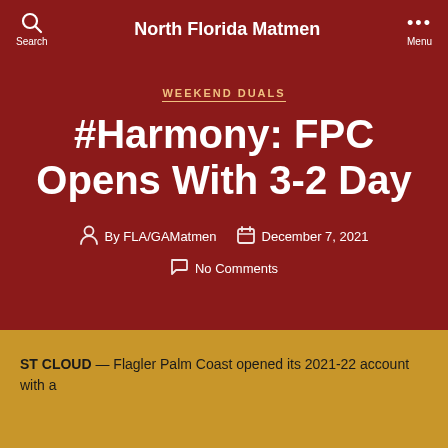North Florida Matmen
WEEKEND DUALS
#Harmony: FPC Opens With 3-2 Day
By FLA/GAMatmen   December 7, 2021   No Comments
ST CLOUD — Flagler Palm Coast opened its 2021-22 account with a